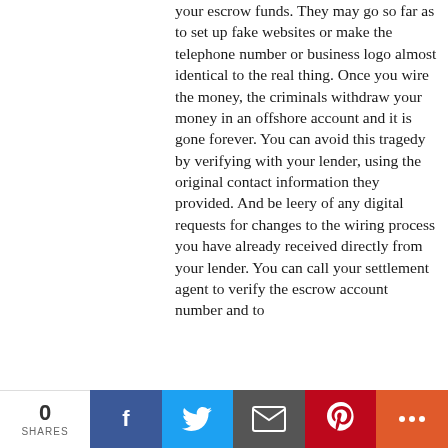your escrow funds. They may go so far as to set up fake websites or make the telephone number or business logo almost identical to the real thing. Once you wire the money, the criminals withdraw your money in an offshore account and it is gone forever. You can avoid this tragedy by verifying with your lender, using the original contact information they provided. And be leery of any digital requests for changes to the wiring process you have already received directly from your lender. You can call your settlement agent to verify the escrow account number and to
0 SHARES | Facebook | Twitter | Email | Pinterest | More